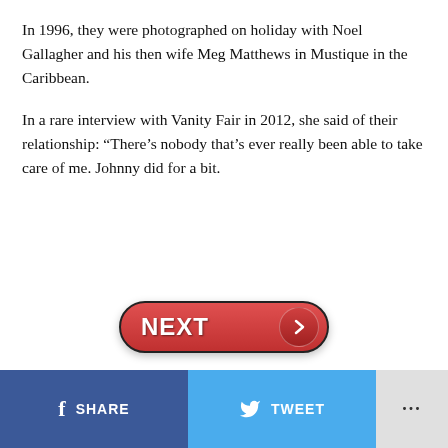In 1996, they were photographed on holiday with Noel Gallagher and his then wife Meg Matthews in Mustique in the Caribbean.
In a rare interview with Vanity Fair in 2012, she said of their relationship: “There’s nobody that’s ever really been able to take care of me. Johnny did for a bit.
[Figure (other): A red pill-shaped NEXT button with an arrow circle on the right side]
SHARE  TWEET  ...